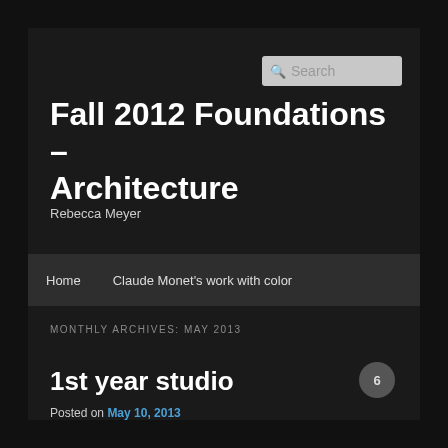Fall 2012 Foundations – Architecture
Rebecca Meyer
Home   Claude Monet's work with color
MONTHLY ARCHIVES: MAY 2013
1st year studio
Posted on May 10, 2013